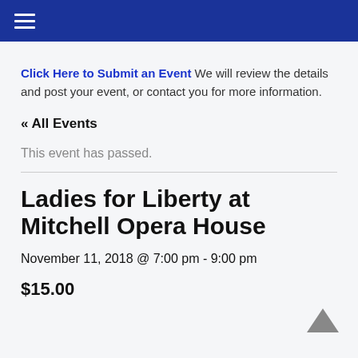☰
Click Here to Submit an Event We will review the details and post your event, or contact you for more information.
« All Events
This event has passed.
Ladies for Liberty at Mitchell Opera House
November 11, 2018 @ 7:00 pm - 9:00 pm
$15.00